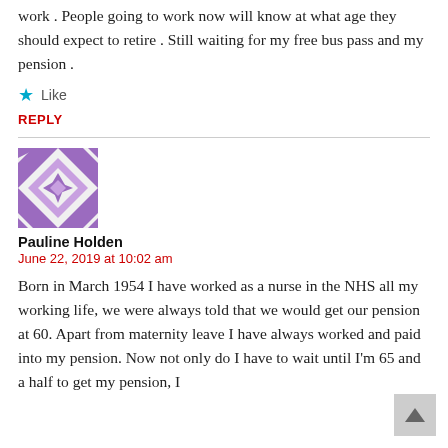work . People going to work now will know at what age they should expect to retire . Still waiting for my free bus pass and my pension .
★ Like
REPLY
[Figure (illustration): Purple geometric avatar/user icon with star and diamond pattern]
Pauline Holden
June 22, 2019 at 10:02 am
Born in March 1954 I have worked as a nurse in the NHS all my working life, we were always told that we would get our pension at 60. Apart from maternity leave I have always worked and paid into my pension. Now not only do I have to wait until I'm 65 and a half to get my pension, I